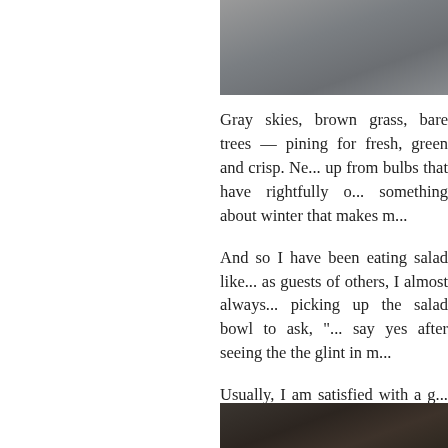[Figure (photo): Gray/dark photo at the top right of the page]
Gray skies, brown grass, bare trees — pining for fresh, green and crisp. Ne... up from bulbs that have rightfully o... something about winter that makes m...
And so I have been eating salad like... as guests of others, I almost always... picking up the salad bowl to ask, "... say yes after seeing the the glint in m...
Usually, I am satisfied with a g... Greenhouse bought at the Farmers'... don't even need many toppings, m... recently I strolled the farmers' ma... creation. There was cabbage everyw... born.
[Figure (photo): Dark brown photo at the bottom right of the page]